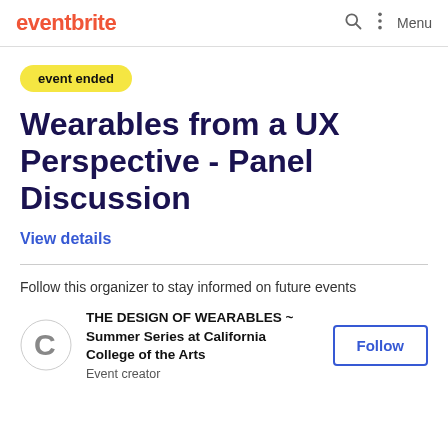eventbrite  Menu
event ended
Wearables from a UX Perspective - Panel Discussion
View details
Follow this organizer to stay informed on future events
THE DESIGN OF WEARABLES ~ Summer Series at California College of the Arts
Event creator